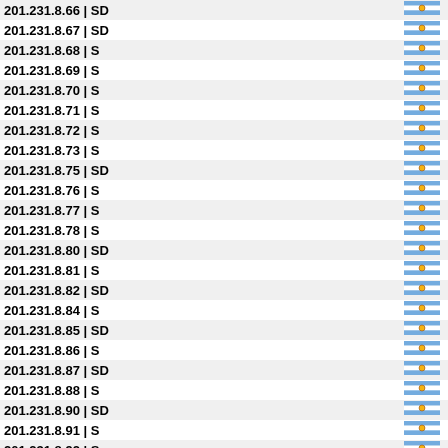| IP | Type | Flag |
| --- | --- |
| 201.231.8.66 | SD | AR |
| 201.231.8.67 | SD | AR |
| 201.231.8.68 | S | AR |
| 201.231.8.69 | S | AR |
| 201.231.8.70 | S | AR |
| 201.231.8.71 | S | AR |
| 201.231.8.72 | S | AR |
| 201.231.8.73 | S | AR |
| 201.231.8.75 | SD | AR |
| 201.231.8.76 | S | AR |
| 201.231.8.77 | S | AR |
| 201.231.8.78 | S | AR |
| 201.231.8.80 | SD | AR |
| 201.231.8.81 | S | AR |
| 201.231.8.82 | SD | AR |
| 201.231.8.84 | S | AR |
| 201.231.8.85 | SD | AR |
| 201.231.8.86 | S | AR |
| 201.231.8.87 | SD | AR |
| 201.231.8.88 | S | AR |
| 201.231.8.90 | SD | AR |
| 201.231.8.91 | S | AR |
| 201.231.8.92 | S | AR |
| 201.231.8.93 | S | AR |
| 201.231.8.94 | SD | AR |
| 201.231.8.95 | AR |
| 201.231.8.97 | SD | AR |